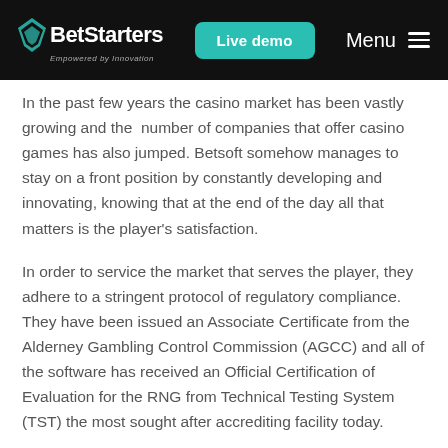BetStarters — Empowered by Innovation | Live demo | Menu
In the past few years the casino market has been vastly growing and the number of companies that offer casino games has also jumped. Betsoft somehow manages to stay on a front position by constantly developing and innovating, knowing that at the end of the day all that matters is the player's satisfaction.
In order to service the market that serves the player, they adhere to a stringent protocol of regulatory compliance. They have been issued an Associate Certificate from the Alderney Gambling Control Commission (AGCC) and all of the software has received an Official Certification of Evaluation for the RNG from Technical Testing System (TST) the most sought after accrediting facility today.